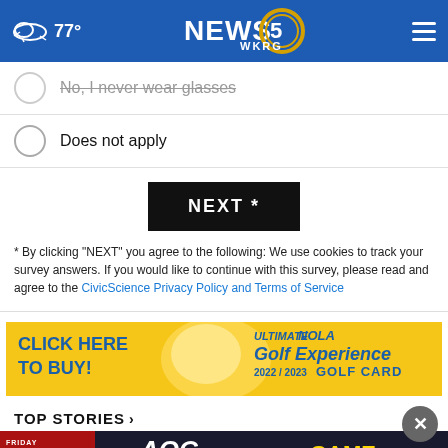NEWS 5 WKRG | 77°
No, I never wear glasses
Does not apply
NEXT *
* By clicking "NEXT" you agree to the following: We use cookies to track your survey answers. If you would like to continue with this survey, please read and agree to the CivicScience Privacy Policy and Terms of Service
[Figure (other): Advertisement banner: CLICK HERE TO BUY! ULTIMATE NOLA Golf Experience 2022/2023 GOLF CARD]
TOP STORIES ›
[Figure (other): Advertisement banner: Friday Night Football Fever - Tonight 6:30PM, AOC Alabama Orthopaedic Clinic, PC - GAME OF THE WEEK]